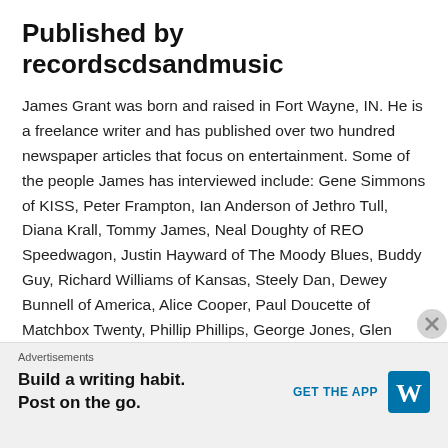Published by recordscdsandmusic
James Grant was born and raised in Fort Wayne, IN. He is a freelance writer and has published over two hundred newspaper articles that focus on entertainment. Some of the people James has interviewed include: Gene Simmons of KISS, Peter Frampton, Ian Anderson of Jethro Tull, Diana Krall, Tommy James, Neal Doughty of REO Speedwagon, Justin Hayward of The Moody Blues, Buddy Guy, Richard Williams of Kansas, Steely Dan, Dewey Bunnell of America, Alice Cooper, Paul Doucette of Matchbox Twenty, Phillip Phillips, George Jones, Glen "The Kid" Marhevka (trumpet player for Big Bad Voodoo Daddy), Paul O'Neill of Trans-Siberian Orchestra, Bill Allen (Executive Director and Producer of Cirque de la Symphonie), Richard Sterban of The Oak Ridge Boys, Jim Brickman, Bryan Adams, Rick Springfield, Peter Tork of The Monkees, Clay Aiken, Chip Davis of Mannheim Steamroller, Keith Harkin of Celtic Thunder, John Rzeznik (lead singer and songwriter
Advertisements
Build a writing habit. Post on the go.
GET THE APP